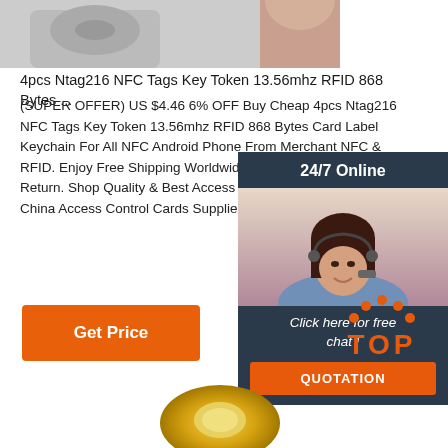[Figure (photo): Partial product image at top of page - NFC tag/token product photo, cropped]
4pcs Ntag216 NFC Tags Key Token 13.56mhz RFID 868 Bytes ...
(SUPER OFFER) US $4.46 6% OFF Buy Cheap 4pcs Ntag216 NFC Tags Key Token 13.56mhz RFID 868 Bytes Card Label Keychain For All NFC Android Phone From Merchant NFC & RFID. Enjoy Free Shipping Worldwide! Limited Time Sale Easy Return. Shop Quality & Best Access Control Cards Directly From China Access Control Cards Suppliers.
[Figure (photo): Chat widget showing a woman wearing a headset for customer service, with 24/7 Online header, Click here for free chat text, and QUOTATION button]
Get Price
[Figure (logo): TOP button logo with orange dots above the word TOP in orange]
[Figure (photo): Bottom partial product image showing a yellow/gold NFC ring token]